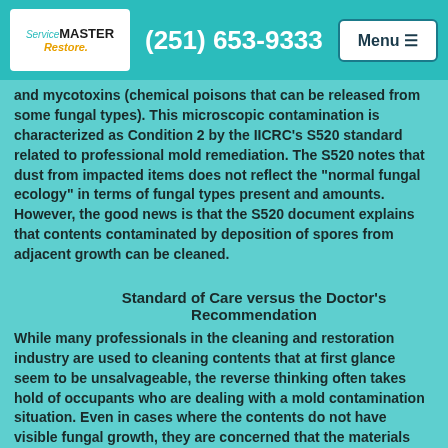(251) 653-9333
and mycotoxins (chemical poisons that can be released from some fungal types). This microscopic contamination is characterized as Condition 2 by the IICRC’s S520 standard related to professional mold remediation. The S520 notes that dust from impacted items does not reflect the “normal fungal ecology” in terms of fungal types present and amounts. However, the good news is that the S520 document explains that contents contaminated by deposition of spores from adjacent growth can be cleaned.
Standard of Care versus the Doctor’s Recommendation
While many professionals in the cleaning and restoration industry are used to cleaning contents that at first glance seem to be unsalvageable, the reverse thinking often takes hold of occupants who are dealing with a mold contamination situation. Even in cases where the contents do not have visible fungal growth, they are concerned that the materials cannot be thoroughly decontaminated. Indeed, we have talked to several individuals, diagnosed with mold sensitivities, who were told by their doctors that the contents of their